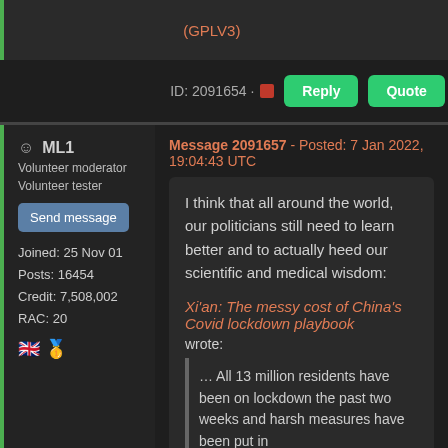(GPLV3)
ID: 2091654 · [icon] Reply Quote
ML1
Volunteer moderator
Volunteer tester
Send message
Joined: 25 Nov 01
Posts: 16454
Credit: 7,508,002
RAC: 20
Message 2091657 - Posted: 7 Jan 2022, 19:04:43 UTC
I think that all around the world, our politicians still need to learn better and to actually heed our scientific and medical wisdom:
Xi'an: The messy cost of China's Covid lockdown playbook
wrote:
… All 13 million residents have been on lockdown the past two weeks and harsh measures have been put in